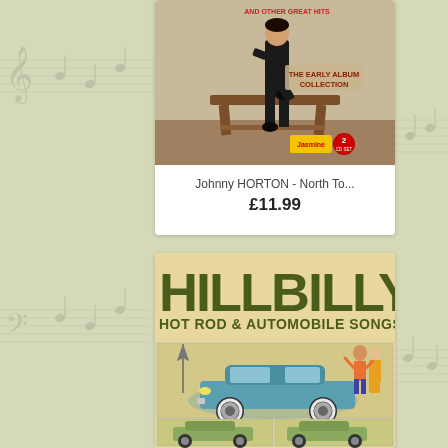[Figure (photo): Product listing card: Johnny HORTON - North To... album cover showing a man in black standing over a wooden bench, with Jasmine 2 CD Set label. Price shown below.]
Johnny HORTON - North To...
£11.99
[Figure (photo): Product listing card: Hillbilly Hot Rod & Automobile Songs album cover showing vintage cars and illustrated figures, with windmill in background.]